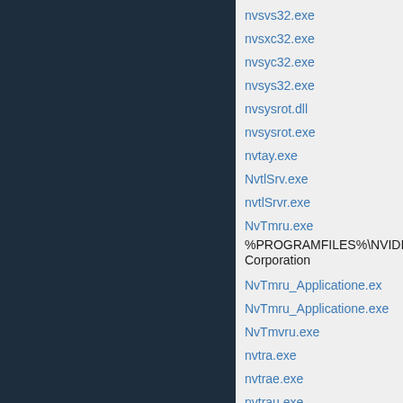nvsvs32.exe
nvsxc32.exe
nvsyc32.exe
nvsys32.exe
nvsysrot.dll
nvsysrot.exe
nvtay.exe
NvtlSrv.exe
nvtlSrvr.exe
NvTmru.exe
%PROGRAMFILES%\NVIDIA Corporation
NvTmru_Applicatione.ex
NvTmru_Applicatione.exe
NvTmvru.exe
nvtra.exe
nvtrae.exe
nvtrau.exe
nvtray.exe